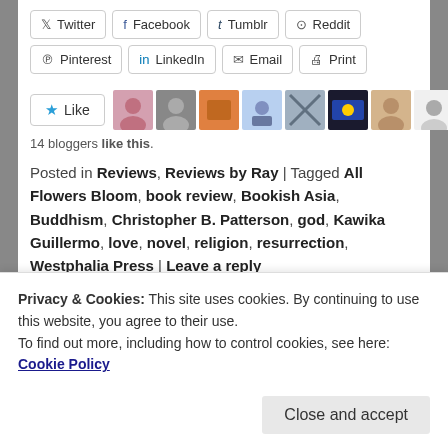[Figure (screenshot): Share buttons row 1: Twitter, Facebook, Tumblr, Reddit]
[Figure (screenshot): Share buttons row 2: Pinterest, LinkedIn, Email, Print]
[Figure (screenshot): Like button with star icon and avatar strip of 9 blogger avatars]
14 bloggers like this.
Posted in Reviews, Reviews by Ray | Tagged All Flowers Bloom, book review, Bookish Asia, Buddhism, Christopher B. Patterson, god, Kawika Guillermo, love, novel, religion, resurrection, Westphalia Press | Leave a reply
2014 – 2015: Love and
Privacy & Cookies: This site uses cookies. By continuing to use this website, you agree to their use.
To find out more, including how to control cookies, see here: Cookie Policy
Close and accept